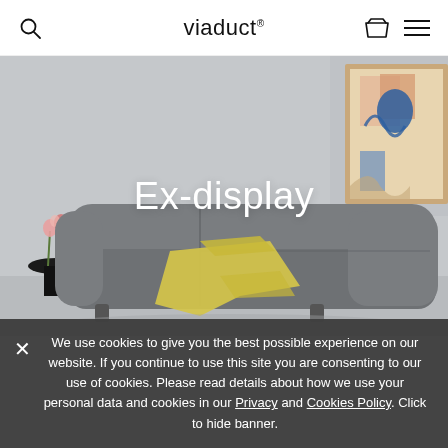viaduct
[Figure (photo): Hero image of a grey upholstered sofa with a yellow throw blanket, pink flowers on a black side table to the left, and a framed artwork visible in the upper right corner, set against a light grey wall.]
Ex-display
We use cookies to give you the best possible experience on our website. If you continue to use this site you are consenting to our use of cookies. Please read details about how we use your personal data and cookies in our Privacy and Cookies Policy. Click to hide banner.